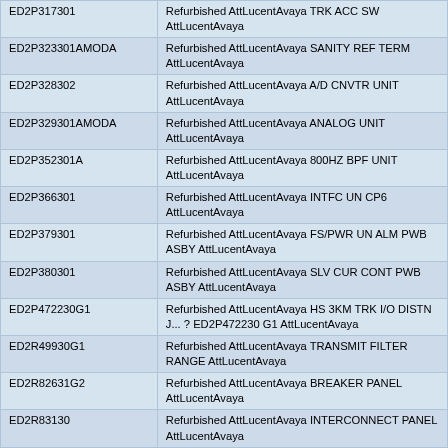| Part Number | Description |
| --- | --- |
| ED2P317301 | Refurbished AttLucentAvaya TRK ACC SW AttLucentAvaya |
| ED2P323301AMODA | Refurbished AttLucentAvaya SANITY REF TERM AttLucentAvaya |
| ED2P328302 | Refurbished AttLucentAvaya A/D CNVTR UNIT AttLucentAvaya |
| ED2P329301AMODA | Refurbished AttLucentAvaya ANALOG UNIT AttLucentAvaya |
| ED2P352301A | Refurbished AttLucentAvaya 800HZ BPF UNIT AttLucentAvaya |
| ED2P366301 | Refurbished AttLucentAvaya INTFC UN CP6 AttLucentAvaya |
| ED2P379301 | Refurbished AttLucentAvaya FS/PWR UN ALM PWB ASBY AttLucentAvaya |
| ED2P380301 | Refurbished AttLucentAvaya SLV CUR CONT PWB ASBY AttLucentAvaya |
| ED2P472230G1 | Refurbished AttLucentAvaya HS 3KM TRK I/O DISTN J... ? ED2P472230 G1 AttLucentAvaya |
| ED2R49930G1 | Refurbished AttLucentAvaya TRANSMIT FILTER RANGE AttLucentAvaya |
| ED2R82631G2 | Refurbished AttLucentAvaya BREAKER PANEL AttLucentAvaya |
| ED2R83130 | Refurbished AttLucentAvaya INTERCONNECT PANEL AttLucentAvaya |
| ED2R83230G1 | Refurbished AttLucentAvaya SHELF AttLucentAvaya |
| ED2R83430 | Refurbished AttLucentAvaya AttLucentAvaya |
| ED2R836 | Refurbished AttLucentAvaya . AttLucentAvaya |
| ED2R836 | Refurbished Lucent CALL FOR INFO Lucent |
| ED2R83630 | Refurbished ATANDT AUTOPLEX TRANSCEIVER ATANDT |
| ED2R83630 | Refurbished AttLucentAvaya AUTOPLEX TRANSCEIVER AttLucentAvaya |
| ED2R83630 | Refurbished Lucent CALL FOR INFO Lucent |
| ED2R836301 | Refurbished AttLucentAvaya AUTOPLEX RAD CHAN UN AttLucentAvaya |